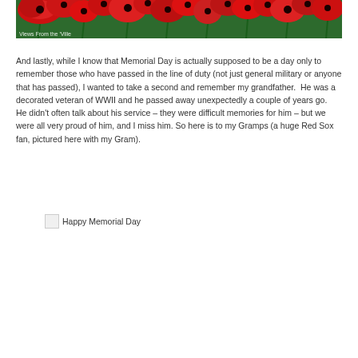[Figure (photo): Banner photo of red poppy flowers in a field with green stems and leaves. Text overlay in bottom-left reads 'Views From the Ville']
And lastly, while I know that Memorial Day is actually supposed to be a day only to remember those who have passed in the line of duty (not just general military or anyone that has passed), I wanted to take a second and remember my grandfather.  He was a decorated veteran of WWII and he passed away unexpectedly a couple of years go.  He didn't often talk about his service – they were difficult memories for him – but we were all very proud of him, and I miss him. So here is to my Gramps (a huge Red Sox fan, pictured here with my Gram).
[Figure (photo): Broken/missing image placeholder labeled 'Happy Memorial Day']